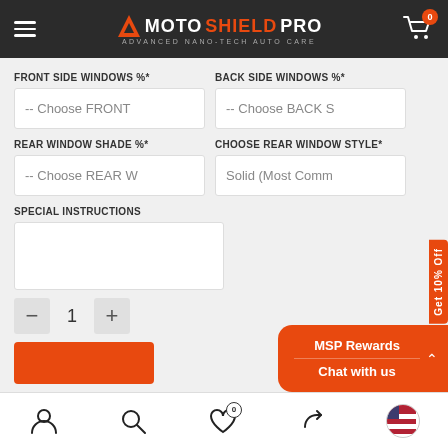MotoShield Pro - Advanced Nano-Tech Auto Care
FRONT SIDE WINDOWS %* -- Choose FRONT
BACK SIDE WINDOWS %* -- Choose BACK S
REAR WINDOW SHADE %* -- Choose REAR W
CHOOSE REAR WINDOW STYLE* -- Solid (Most Comm
SPECIAL INSTRUCTIONS
1
MSP Rewards
Chat with us
Bottom navigation bar